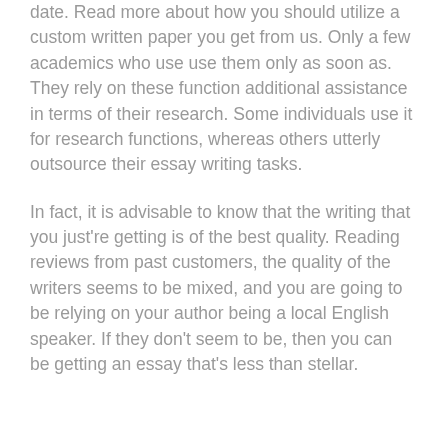date. Read more about how you should utilize a custom written paper you get from us. Only a few academics who use use them only as soon as. They rely on these function additional assistance in terms of their research. Some individuals use it for research functions, whereas others utterly outsource their essay writing tasks.
In fact, it is advisable to know that the writing that you just're getting is of the best quality. Reading reviews from past customers, the quality of the writers seems to be mixed, and you are going to be relying on your author being a local English speaker. If they don't seem to be, then you can be getting an essay that's less than stellar.